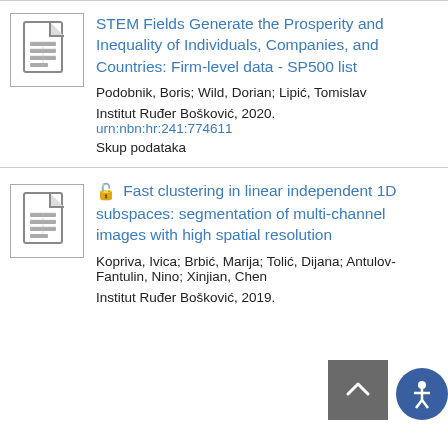[Figure (other): Document/spreadsheet icon in a bordered box]
STEM Fields Generate the Prosperity and Inequality of Individuals, Companies, and Countries: Firm-level data - SP500 list
Podobnik, Boris; Wild, Dorian; Lipić, Tomislav
Institut Ruđer Bošković, 2020.
urn:nbn:hr:241:774611
Skup podataka
[Figure (other): Document/spreadsheet icon in a bordered box]
Fast clustering in linear independent 1D subspaces: segmentation of multi-channel images with high spatial resolution
Kopriva, Ivica; Brbić, Marija; Tolić, Dijana; Antulov-Fantulin, Nino; Xinjian, Chen
Institut Ruđer Bošković, 2019.